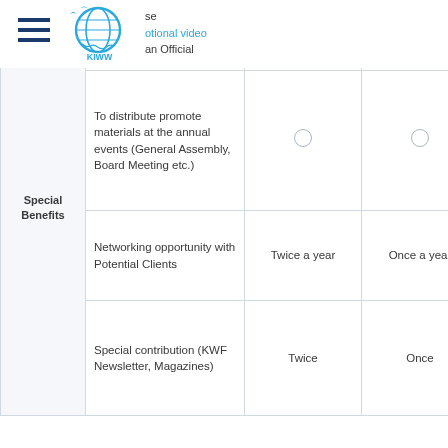[Figure (logo): KIWW organization logo with globe and bird silhouette in blue]
|  | Benefit | Tier 1 | Tier 2 | Tier 3 |
| --- | --- | --- | --- | --- |
| Special Benefits | website and SNS (20 seconds) | ○ | ○ |  |
| Special Benefits | To distribute promote materials at the annual events (General Assembly, Board Meeting etc.) | ○ | ○ |  |
| Special Benefits | Networking opportunity with Potential Clients | Twice a year | Once a year |  |
| Special Benefits | Special contribution (KWF Newsletter, Magazines) | Twice | Once |  |